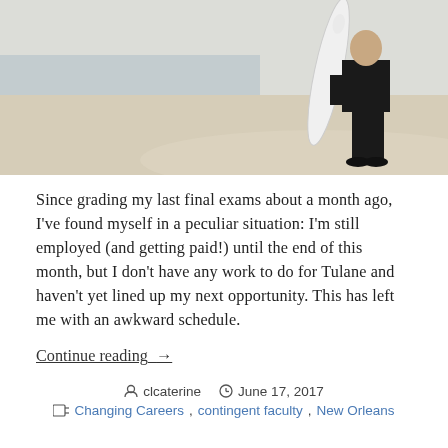[Figure (photo): A person in a black business suit holding a white surfboard on a sandy beach]
Since grading my last final exams about a month ago, I've found myself in a peculiar situation: I'm still employed (and getting paid!) until the end of this month, but I don't have any work to do for Tulane and haven't yet lined up my next opportunity.  This has left me with an awkward schedule.
Continue reading  →
clcaterine   June 17, 2017
Changing Careers, contingent faculty, New Orleans